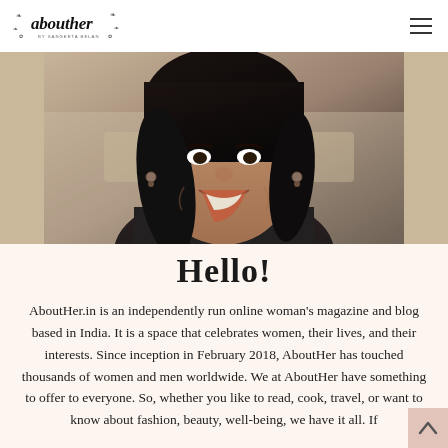abouther by Sangeeta Belan
[Figure (photo): Close-up photo of a smiling woman with dark hair, wearing dark clothing and decorative earrings, in an indoor setting]
Hello!
AboutHer.in is an independently run online woman’s magazine and blog based in India. It is a space that celebrates women, their lives, and their interests. Since inception in February 2018, AboutHer has touched thousands of women and men worldwide. We at AboutHer have something to offer to everyone. So, whether you like to read, cook, travel, or want to know about fashion, beauty, well-being, we have it all. If